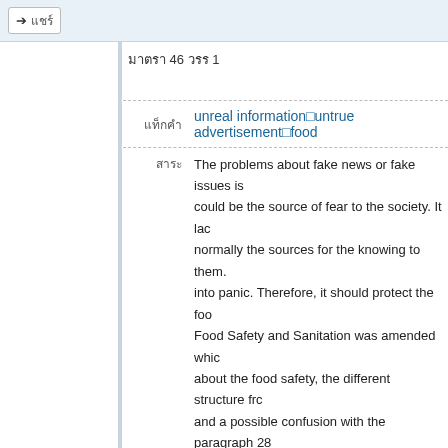แชร์
มาตรา​​​​​​​​​​​​​​​ 46 วรร 1​​​​​​​​​​​​​​​​​​​​​​​​​​​​​​​​​ ​​​​​​​​​​​​​​​​​​​​​​​​​​​​​​​​​​​​​​​​​​​
unreal information□untrue advertisement□food
The problems about fake news or fake issues is could be the source of fear to the society. It lac normally the sources for the knowing to them. into panic. Therefore, it should protect the foo Food Safety and Sanitation was amended whic about the food safety, the different structure frc and a possible confusion with the paragraph 28 for this norm. Comparing with the related norm lead a proper result according to the opinion in
ก ยก ผผผผ
มาตราที่ 46 วรร 1 ยก
ผผผผผผผผผผผผผผผผผผ
ผผผผผผผ
ผผผผ
ผผผผผผผผผ